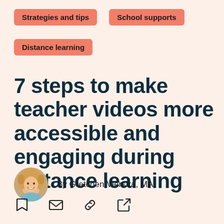Strategies and tips
School supports
Distance learning
7 steps to make teacher videos more accessible and engaging during distance learning
By Gretchen Vierstra, MA
[Figure (illustration): Circular author photo of Gretchen Vierstra, a woman with curly blonde hair, smiling]
[Figure (infographic): Row of four icons: bookmark, email/envelope, chain link, external link/share]